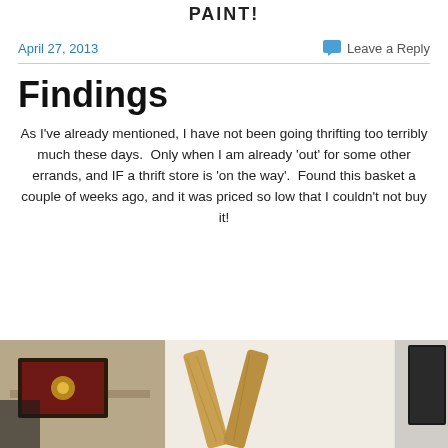PAINT!
April 27, 2013
Leave a Reply
Findings
As I've already mentioned, I have not been going thrifting too terribly much these days.  Only when I am already 'out' for some other errands, and IF a thrift store is 'on the way'.  Found this basket a couple of weeks ago, and it was priced so low that I couldn't not buy it!
[Figure (photo): Photo of a wooden basket handle visible in the center, with partial images of other items on the left and right edges]